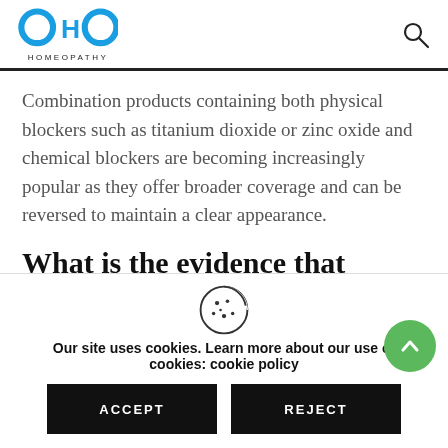OHO HOMEOPATHY
Combination products containing both physical blockers such as titanium dioxide or zinc oxide and chemical blockers are becoming increasingly popular as they offer broader coverage and can be reversed to maintain a clear appearance.
What is the evidence that sunscreens protect against skin
Our site uses cookies. Learn more about our use of cookies: cookie policy
ACCEPT
REJECT